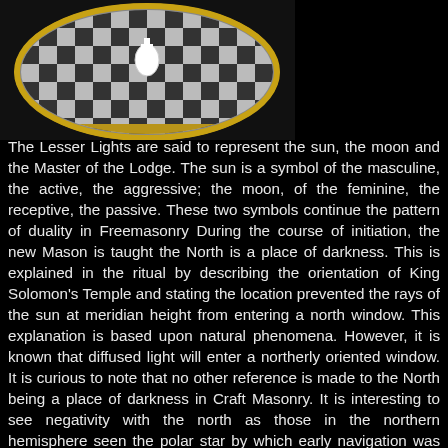[Figure (photo): A circular embroidered or decorative medallion featuring a black and white checkerboard pattern with a white piece (possibly a king chess piece) at center, surrounded by gold trim, against a dark background.]
The Lesser Lights are said to represent the sun, the moon and the Master of the Lodge. The sun is a symbol of the masculine, the active, the aggressive; the moon, of the feminine, the receptive, the passive. These two symbols continue the pattern of duality in Freemasonry During the course of initiation, the new Mason is taught the North is a place of darkness. This is explained in the ritual by describing the orientation of King Solomon's Temple and stating the location prevented the rays of the sun at meridian height from entering a north window. This explanation is based upon natural phenomena. However, it is known that diffused light will enter a northerly oriented window. It is curious to note that no other reference is made to the North being a place of darkness in Craft Masonry. It is interesting to see negativity with the north as those in the northern hemisphere seen the polar star by which early navigation was dependent upon. However, there are several mythological accounts on the north being a place of darkness. Even Biblical accounts state the following of the